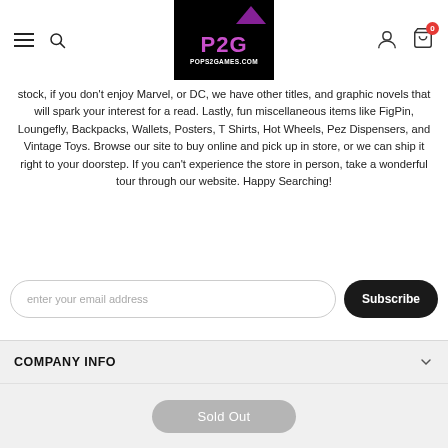[Figure (logo): P2G POPS2GAMES.COM logo — black background with purple P2G text and white site URL]
stock, if you don't enjoy Marvel, or DC, we have other titles, and graphic novels that will spark your interest for a read. Lastly, fun miscellaneous items like FigPin, Loungefly, Backpacks, Wallets, Posters, T Shirts, Hot Wheels, Pez Dispensers, and Vintage Toys. Browse our site to buy online and pick up in store, or we can ship it right to your doorstep. If you can't experience the store in person, take a wonderful tour through our website. Happy Searching!
enter your email address
Subscribe
COMPANY INFO
LEGAL INFO
Sold Out